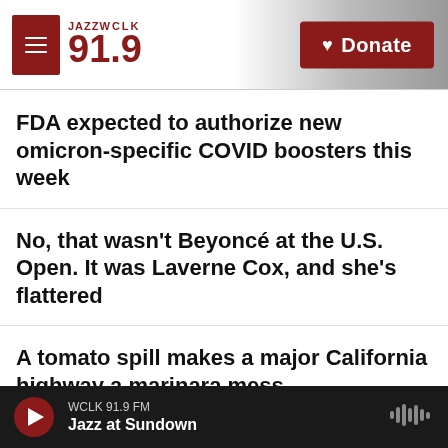JAZZ WCLK 91.9 | Donate
FDA expected to authorize new omicron-specific COVID boosters this week
No, that wasn't Beyoncé at the U.S. Open. It was Laverne Cox, and she's flattered
A tomato spill makes a major California highway a marinara mess
Inside the rise of 'stealerships' and the shady economics of car buying
WCLK 91.9 FM | Jazz at Sundown